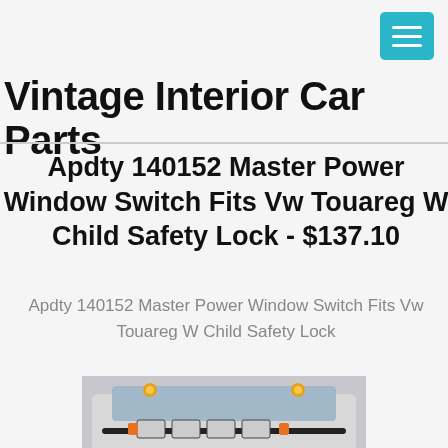Vintage Interior Car Parts
Apdty 140152 Master Power Window Switch Fits Vw Touareg W Child Safety Lock - $137.10
Apdty 140152 Master Power Window Switch Fits Vw Touareg W Child Safety Lock
[Figure (photo): Photo of a vehicle (SUV or truck) front view from above showing roof-mounted lights and a bull bar with auxiliary lights on the hood, silver/white colored vehicle]